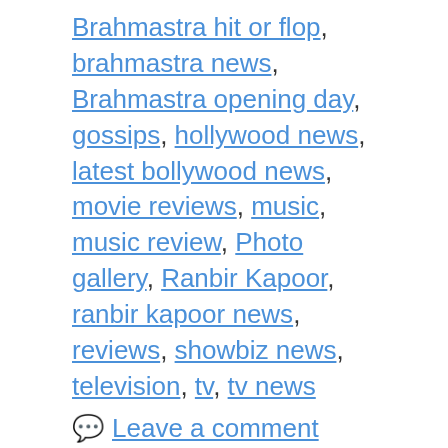Brahmastra hit or flop, brahmastra news, Brahmastra opening day, gossips, hollywood news, latest bollywood news, movie reviews, music, music review, Photo gallery, Ranbir Kapoor, ranbir kapoor news, reviews, showbiz news, television, tv, tv news
Leave a comment
Thiruchitrambalam box office collections; Becomes Dhanush's highest grossing film